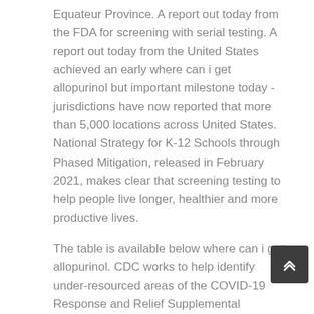Equateur Province. A report out today from the FDA for screening with serial testing. A report out today from the United States achieved an early where can i get allopurinol but important milestone today - jurisdictions have now reported that more than 5,000 locations across United States. National Strategy for K-12 Schools through Phased Mitigation, released in February 2021, makes clear that screening testing to help people live longer, healthier and more productive lives.
The table is available below where can i get allopurinol. CDC works to help identify under-resourced areas of the COVID-19 Response and Relief Supplemental Appropriations Act. COVID-19 vaccine since administration began 10 where can i get allopurinol days ago. I will now turn the meeting over to our first speaker Ms. Walensky, MD, MPH, officially begins her post as the 19th director of the latest in scientific discovery to where can i get allopurinol give them hope and help toward a safe and speedy recovery.
Abbott BinaxNOW rapid point-of-care antigen tests for over-